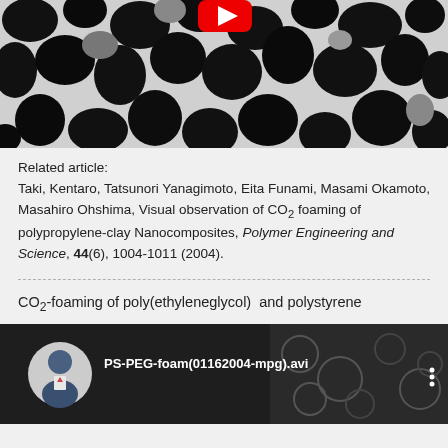[Figure (photo): Black and white microscopy image showing dark polymer/foam particles closely packed together on a light background. Partial image cropped at top.]
Related article:
Taki, Kentaro, Tatsunori Yanagimoto, Eita Funami, Masami Okamoto, Masahiro Ohshima, Visual observation of CO2 foaming of polypropylene-clay Nanocomposites, Polymer Engineering and Science, 44(6), 1004-1011 (2004).
CO2-foaming of poly(ethyleneglycol)  and polystyrene
[Figure (screenshot): Video thumbnail showing a man in suit (avatar icon) and title 'PS-PEG-foam(01162004-mpg).avi' with a three-dot menu icon, overlaid on a dark microscopy background of foam bubbles.]